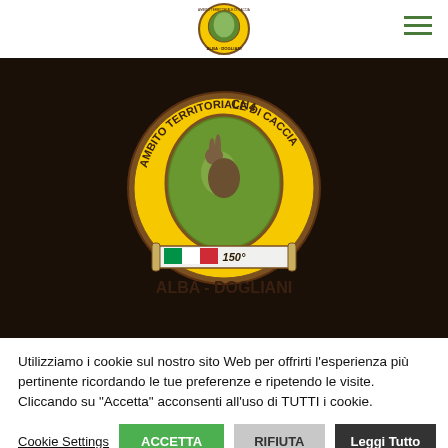[Figure (logo): Alba-Dogliani hunting territory logo: circular badge with hare, yellow and brown colors, Italian flag ribbon with 150°, text ALBA-DOGLIANI]
Privacy Policy
Utilizziamo i cookie sul nostro sito Web per offrirti l'esperienza più pertinente ricordando le tue preferenze e ripetendo le visite. Cliccando su "Accetta" acconsenti all'uso di TUTTI i cookie.
Cookie Settings
ACCETTA
RIFIUTA
Leggi Tutto